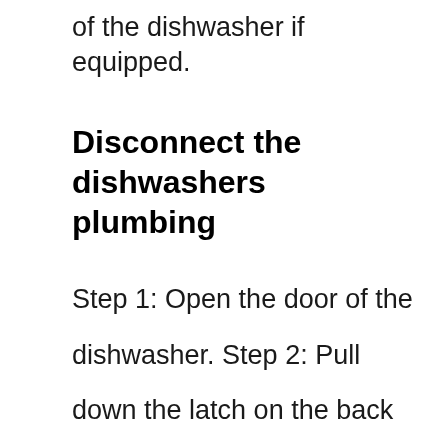of the dishwasher if equipped.
Disconnect the dishwashers plumbing
Step 1: Open the door of the dishwasher. Step 2: Pull down the latch on the back of the dishwasher. This will release the door from the body of the dishwasher. Be careful not to pull the